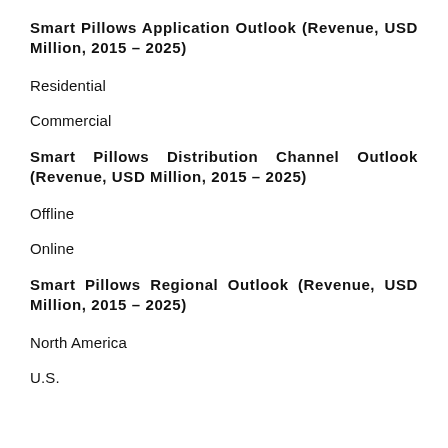Smart Pillows Application Outlook (Revenue, USD Million, 2015 – 2025)
Residential
Commercial
Smart Pillows Distribution Channel Outlook (Revenue, USD Million, 2015 – 2025)
Offline
Online
Smart Pillows Regional Outlook (Revenue, USD Million, 2015 – 2025)
North America
U.S.